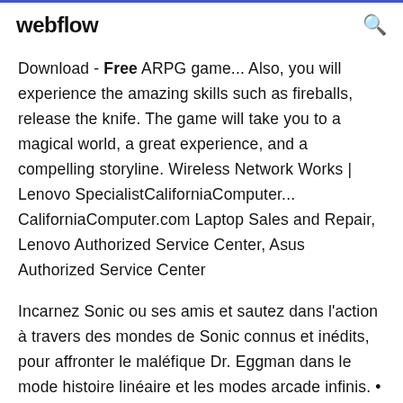webflow
Download - Free ARPG game... Also, you will experience the amazing skills such as fireballs, release the knife. The game will take you to a magical world, a great experience, and a compelling storyline. Wireless Network Works | Lenovo SpecialistCaliforniaComputer... CaliforniaComputer.com Laptop Sales and Repair, Lenovo Authorized Service Center, Asus Authorized Service Center
Incarnez Sonic ou ses amis et sautez dans l'action à travers des mondes de Sonic connus et inédits, pour affronter le maléfique Dr. Eggman dans le mode histoire linéaire et les modes arcade infinis. • Incarnez Sonic ou ses